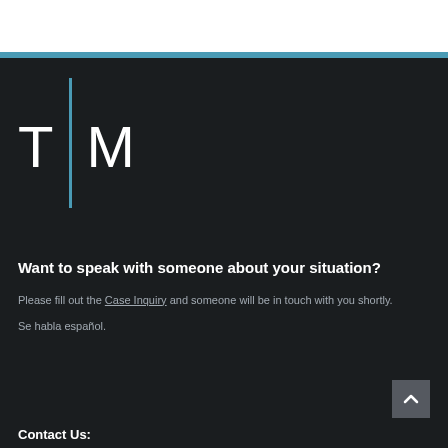[Figure (logo): Law firm logo with T and M letters separated by a blue vertical bar]
Want to speak with someone about your situation?
Please fill out the Case Inquiry and someone will be in touch with you shortly.
Se habla español.
Contact Us: